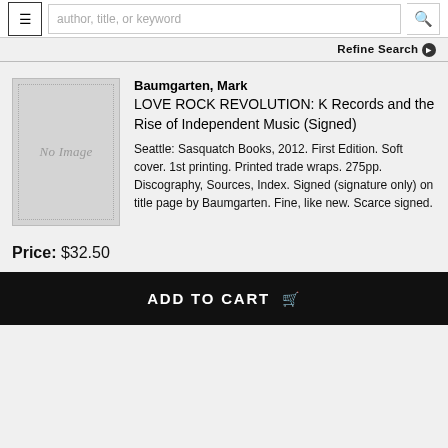author, title, or keyword
Refine Search
[Figure (illustration): Book cover placeholder showing 'No Image']
Baumgarten, Mark
LOVE ROCK REVOLUTION: K Records and the Rise of Independent Music (Signed)
Seattle: Sasquatch Books, 2012. First Edition. Soft cover. 1st printing. Printed trade wraps. 275pp. Discography, Sources, Index. Signed (signature only) on title page by Baumgarten. Fine, like new. Scarce signed.
Price: $32.50
ADD TO CART